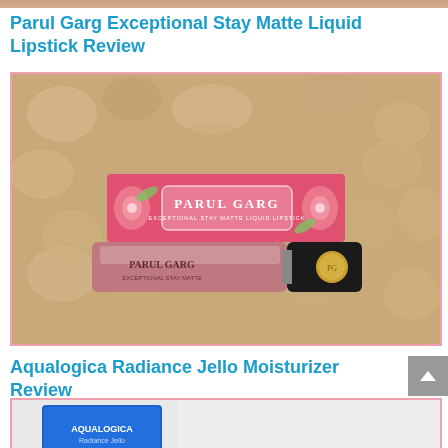Parul Garg Exceptional Stay Matte Liquid Lipstick Review
[Figure (photo): Photo of Parul Garg Exceptional Stay Matte Liquid Lipstick product — a pink floral packaging box and the liquid lipstick tube (mauve/rose color with black cap) placed on a fluffy beige surface. Pink border around image.]
Aqualogica Radiance Jello Moisturizer Review
[Figure (photo): Partially visible bottom image showing beginning of Aqualogica Radiance Jello Moisturizer product photo with pink border, cropped at page bottom.]